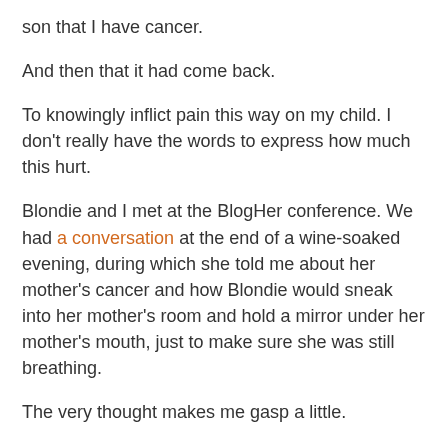son that I have cancer.
And then that it had come back.
To knowingly inflict pain this way on my child. I don't really have the words to express how much this hurt.
Blondie and I met at the BlogHer conference. We had a conversation at the end of a wine-soaked evening, during which she told me about her mother's cancer and how Blondie would sneak into her mother's room and hold a mirror under her mother's mouth, just to make sure she was still breathing.
The very thought makes me gasp a little.
Like Blondie's mom (who is now healthy and who told me that we had at least one chemo drug in common, in yesterday's comments), I spent the days following each chemo (which were always over a week end), lying in the dark, unable to tolerate movement, sound or light. My spouse (as well as family and friends) would make sure